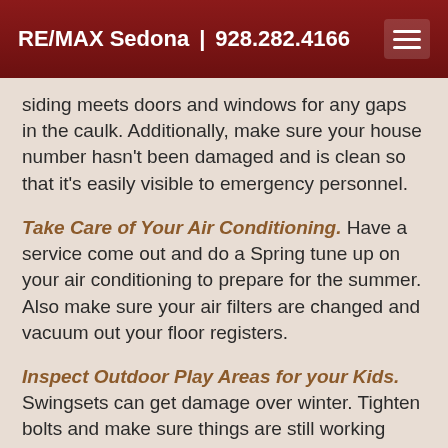RE/MAX Sedona | 928.282.4166
siding meets doors and windows for any gaps in the caulk. Additionally, make sure your house number hasn't been damaged and is clean so that it's easily visible to emergency personnel.
Take Care of Your Air Conditioning. Have a service come out and do a Spring tune up on your air conditioning to prepare for the summer. Also make sure your air filters are changed and vacuum out your floor registers.
Inspect Outdoor Play Areas for your Kids. Swingsets can get damage over winter. Tighten bolts and make sure things are still working properly and safe. Check for any sharp edges or splinters sticking up and clean off any mold growth.
Check your GFCIs. Ground Fault Circuit Interrupters (GFCI) protect you from deadly electrical shocks. These are the outlets you find in usually your bathroom, laundry...